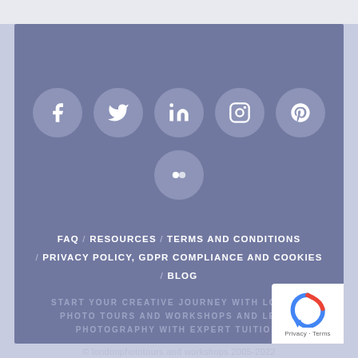[Figure (infographic): Social media icons in circular grey buttons: Facebook, Twitter, LinkedIn, Instagram, Pinterest (top row), Flickr (second row centered)]
FAQ / RESOURCES / TERMS AND CONDITIONS / PRIVACY POLICY, GDPR COMPLIANCE AND COOKIES / BLOG
START YOUR CREATIVE JOURNEY WITH LONDON PHOTO TOURS AND WORKSHOPS AND LEARN PHOTOGRAPHY WITH EXPERT TUITION.
© londonphototours and workshops 2005-2022
[Figure (logo): Google reCAPTCHA badge with Privacy and Terms links]